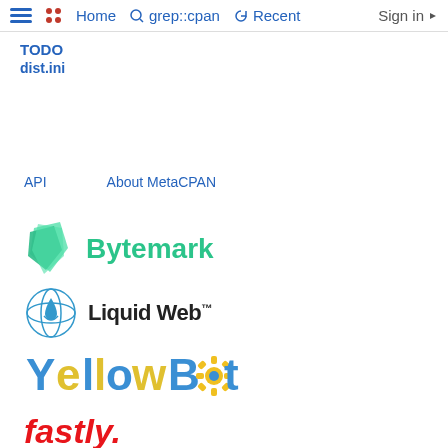☰  Home  grep::cpan  Recent  Sign in
TODO
dist.ini
API    About MetaCPAN
[Figure (logo): Bytemark logo - green geometric icon and green bold text 'Bytemark']
[Figure (logo): Liquid Web logo - circular icon with drop and orbit and bold text 'Liquid Web™']
[Figure (logo): YellowBot logo - colorful text with blue/yellow/orange letters and gear icon]
[Figure (logo): fastly logo - bold italic red text 'fastly.']